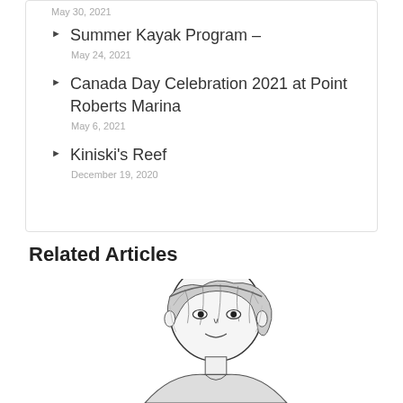May 30, 2021
Summer Kayak Program –
May 24, 2021
Canada Day Celebration 2021 at Point Roberts Marina
May 6, 2021
Kiniski's Reef
December 19, 2020
Related Articles
[Figure (illustration): Black and white illustration or sketch of a person]